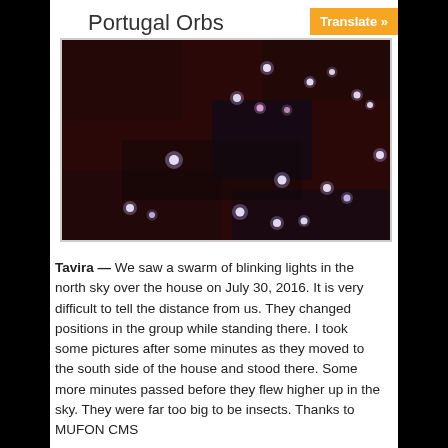Portugal Orbs
[Figure (photo): Dark reddish-black night sky photograph showing multiple small glowing orbs (white and pink/purple light points) scattered across the image, taken in Tavira, Portugal on July 30, 2016.]
Tavira — We saw a swarm of blinking lights in the north sky over the house on July 30, 2016. It is very difficult to tell the distance from us. They changed positions in the group while standing there. I took some pictures after some minutes as they moved to the south side of the house and stood there. Some more minutes passed before they flew higher up in the sky. They were far too big to be insects. Thanks to MUFON CMS